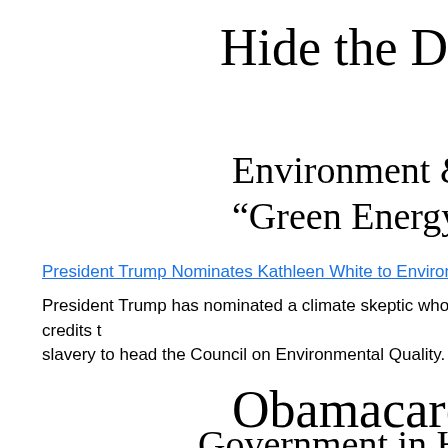Hide the Declin…
Environment &
"Green Energy"
President Trump Nominates Kathleen White to Environmental C…
President Trump has nominated a climate skeptic who credits t… slavery to head the Council on Environmental Quality.
Obamacare
Government in Health…